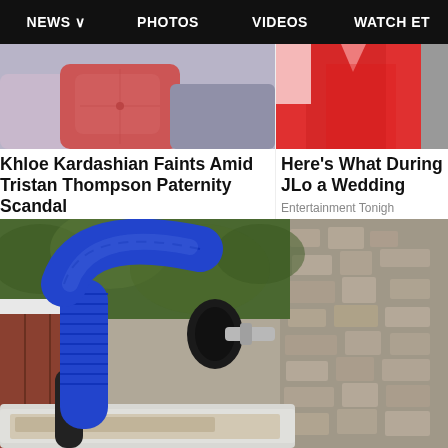NEWS  PHOTOS  VIDEOS  WATCH ET
[Figure (photo): Left article thumbnail: couch with pink/red pillow and lavender cushions]
Khloe Kardashian Faints Amid Tristan Thompson Paternity Scandal
Entertainment Tonight
[Figure (photo): Right article thumbnail: woman in red dress, partially cropped]
Here's What During JLo a Wedding
Entertainment Tonight
[Figure (photo): Large photo of gutter cleaning with blue flexible hose/vacuum attached to gutter on exterior wall]